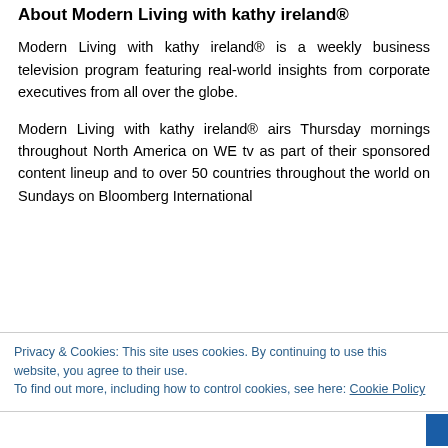About Modern Living with kathy ireland®
Modern Living with kathy ireland® is a weekly business television program featuring real-world insights from corporate executives from all over the globe.
Modern Living with kathy ireland® airs Thursday mornings throughout North America on WE tv as part of their sponsored content lineup and to over 50 countries throughout the world on Sundays on Bloomberg International
Privacy & Cookies: This site uses cookies. By continuing to use this website, you agree to their use.
To find out more, including how to control cookies, see here: Cookie Policy